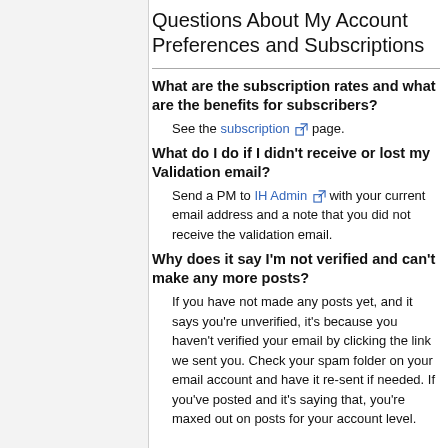Questions About My Account Preferences and Subscriptions
What are the subscription rates and what are the benefits for subscribers?
See the subscription page.
What do I do if I didn't receive or lost my Validation email?
Send a PM to IH Admin with your current email address and a note that you did not receive the validation email.
Why does it say I'm not verified and can't make any more posts?
If you have not made any posts yet, and it says you're unverified, it's because you haven't verified your email by clicking the link we sent you. Check your spam folder on your email account and have it re-sent if needed. If you've posted and it's saying that, you're maxed out on posts for your account level.